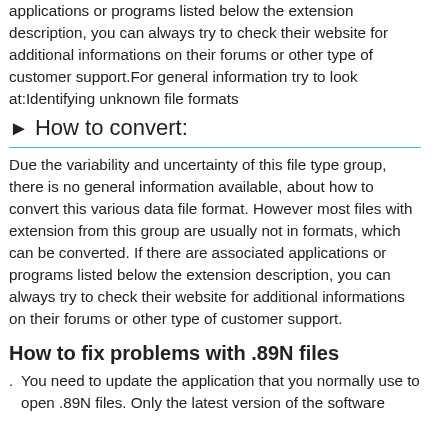applications or programs listed below the extension description, you can always try to check their website for additional informations on their forums or other type of customer support.For general information try to look at:Identifying unknown file formats
► How to convert:
Due the variability and uncertainty of this file type group, there is no general information available, about how to convert this various data file format. However most files with extension from this group are usually not in formats, which can be converted. If there are associated applications or programs listed below the extension description, you can always try to check their website for additional informations on their forums or other type of customer support.
How to fix problems with .89N files
You need to update the application that you normally use to open .89N files. Only the latest version of the software